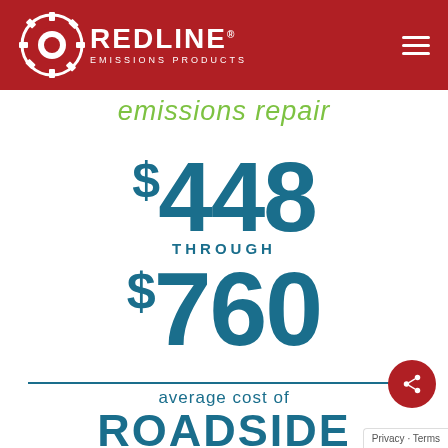[Figure (logo): Redline Emissions Products logo with gear icon on dark red header bar with hamburger menu icon]
emissions repair
$448 THROUGH $760 average cost of ROADSIDE